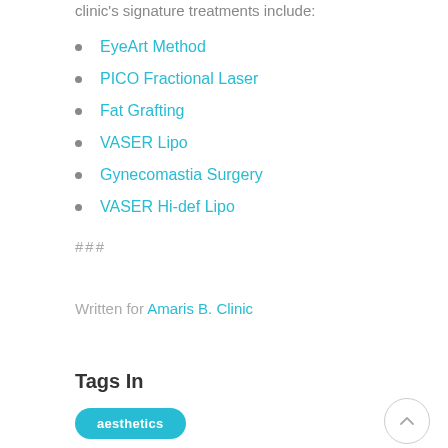clinic's signature treatments include:
EyeArt Method
PICO Fractional Laser
Fat Grafting
VASER Lipo
Gynecomastia Surgery
VASER Hi-def Lipo
###
Written for Amaris B. Clinic
Tags In
aesthetics